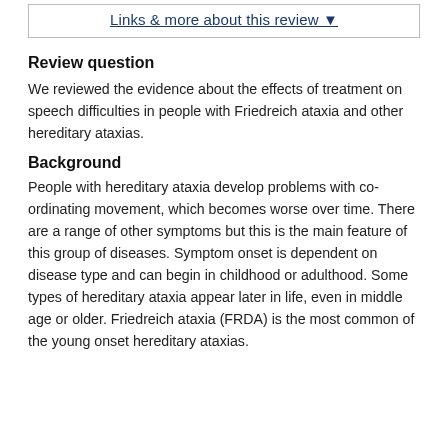Links & more about this review ▼
Review question
We reviewed the evidence about the effects of treatment on speech difficulties in people with Friedreich ataxia and other hereditary ataxias.
Background
People with hereditary ataxia develop problems with co-ordinating movement, which becomes worse over time. There are a range of other symptoms but this is the main feature of this group of diseases. Symptom onset is dependent on disease type and can begin in childhood or adulthood. Some types of hereditary ataxia appear later in life, even in middle age or older. Friedreich ataxia (FRDA) is the most common of the young onset hereditary ataxias.